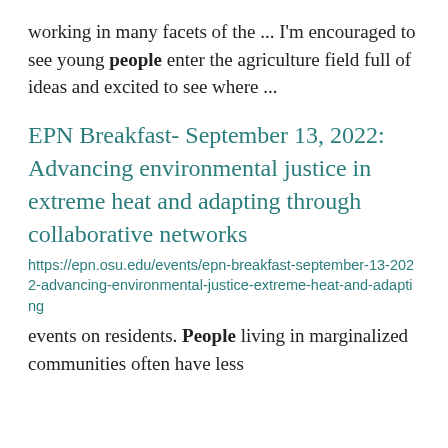working in many facets of the ... I'm encouraged to see young people enter the agriculture field full of ideas and excited to see where ...
EPN Breakfast- September 13, 2022: Advancing environmental justice in extreme heat and adapting through collaborative networks
https://epn.osu.edu/events/epn-breakfast-september-13-2022-advancing-environmental-justice-extreme-heat-and-adapting
events on residents. People living in marginalized communities often have less